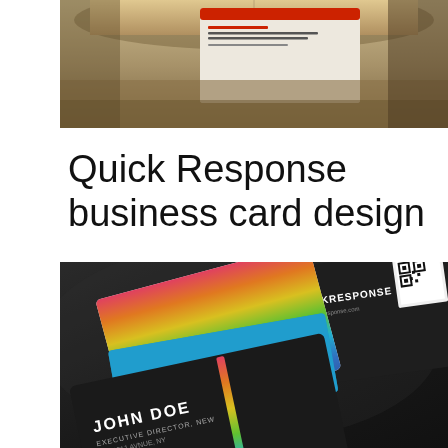[Figure (photo): Top portion of page showing a business card partially visible inside a cardboard box or envelope, with small text visible on the card including event host and event planning details]
Quick Response business card design
[Figure (photo): Dark background photo showing Quick Response business cards with colorful horizontal rainbow stripes (pink, orange, yellow, green, blue) on front, and dark side showing JOHN DOE, EXECUTIVE DIRECTOR, NEW YORK, phone numbers, email, and a QR code. QUICKRESPONSE branding visible on dark card back.]